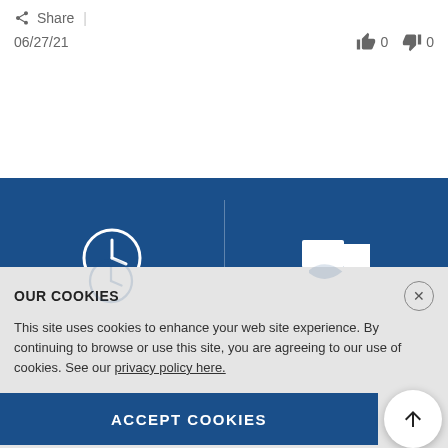Share |
06/27/21   👍 0  👎 0
[Figure (infographic): Blue banner with two columns: left shows a clock icon with text 'Same Day Shipping', right shows a delivery truck icon with text 'Free Shipping'. A vertical divider separates the two columns.]
OUR COOKIES
This site uses cookies to enhance your web site experience. By continuing to browse or use this site, you are agreeing to our use of cookies. See our privacy policy here.
ACCEPT COOKIES